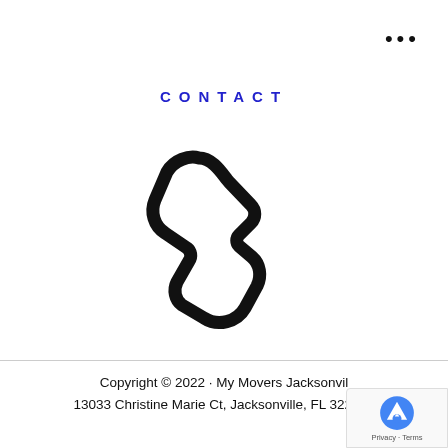•••
CONTACT
[Figure (illustration): Phone handset icon outline in black]
Copyright © 2022 · My Movers Jacksonville · 13033 Christine Marie Ct, Jacksonville, FL 32225 ·